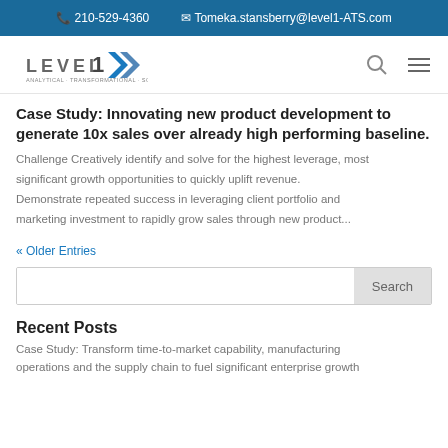📞 210-529-4360   ✉ Tomeka.stansberry@level1-ATS.com
[Figure (logo): Level1 ATS company logo with stylized double-arrow chevron in blue]
Case Study: Innovating new product development to generate 10x sales over already high performing baseline.
Challenge Creatively identify and solve for the highest leverage, most significant growth opportunities to quickly uplift revenue. Demonstrate repeated success in leveraging client portfolio and marketing investment to rapidly grow sales through new product...
« Older Entries
Search
Recent Posts
Case Study: Transform time-to-market capability, manufacturing operations and the supply chain to fuel significant enterprise growth